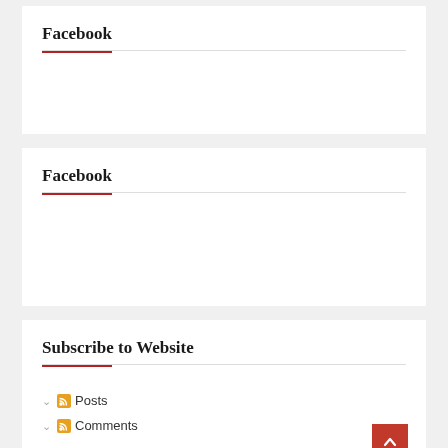Facebook
Facebook
Subscribe to Website
Posts
Comments